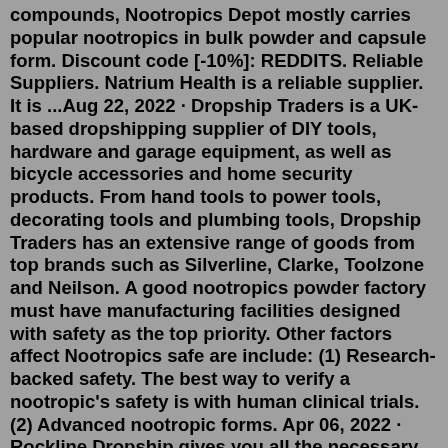compounds, Nootropics Depot mostly carries popular nootropics in bulk powder and capsule form. Discount code [-10%]: REDDITS. Reliable Suppliers. Natrium Health is a reliable supplier. It is ...Aug 22, 2022 · Dropship Traders is a UK-based dropshipping supplier of DIY tools, hardware and garage equipment, as well as bicycle accessories and home security products. From hand tools to power tools, decorating tools and plumbing tools, Dropship Traders has an extensive range of goods from top brands such as Silverline, Clarke, Toolzone and Neilson. A good nootropics powder factory must have manufacturing facilities designed with safety as the top priority. Other factors affect Nootropics safe are include: (1) Research-backed safety. The best way to verify a nootropic's safety is with human clinical trials. (2) Advanced nootropic forms. Apr 06, 2022 · Rockline Dropship gives you all the necessary tools a dropshipper needs, including fast shipping, order tracking, quick order processing, and trendy and